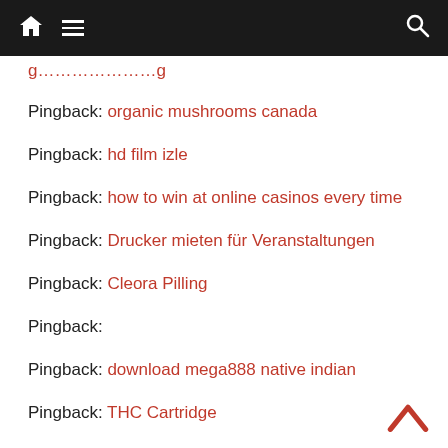Navigation bar with home, menu, and search icons
Pingback: [partial link - cut off at top]
Pingback: organic mushrooms canada
Pingback: hd film izle
Pingback: how to win at online casinos every time
Pingback: Drucker mieten für Veranstaltungen
Pingback: Cleora Pilling
Pingback:
Pingback: download mega888 native indian
Pingback: THC Cartridge
Pingback: social media intern singapore
Pingback: twitter emoticons